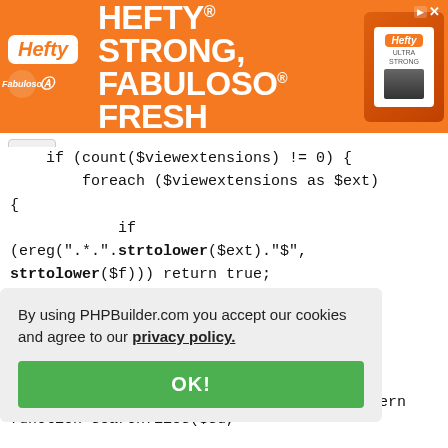[Figure (other): Hefty brand advertisement banner with orange background showing 'HEFTY STRONG, FABULOSO FRESH' text with product image]
if (count($viewextensions) != 0) {
        foreach ($viewextensions as $ext)
{
            if
(ereg(".*.".strtolower($ext)."$",
strtolower($f))) return true;
        }
        return false;
    } else {
By using PHPBuilder.com you accept our cookies and agree to our privacy policy.
OK!
p pattern
function searchfiles($sd,